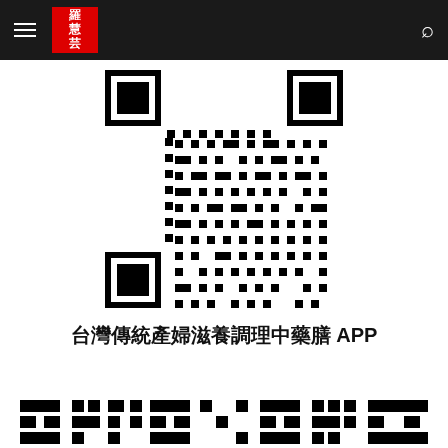羅慧芸 APP
[Figure (other): QR code for 台灣傳統產婦滋養調理中藥膳 APP]
台灣傳統產婦滋養調理中藥膳 APP
[Figure (other): Bottom partial QR code strip]